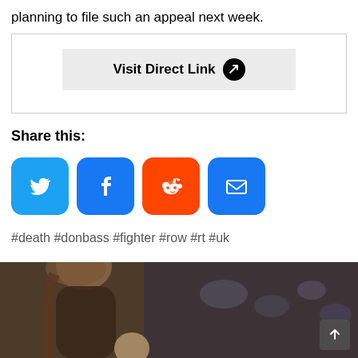planning to file such an appeal next week.
[Figure (other): Visit Direct Link button with external link icon]
Share this:
[Figure (infographic): Social share icons: Twitter, Facebook, Reddit, Email]
#death #donbass #fighter #row #rt #uk
[Figure (photo): Photo of a woman with brown hair in a dark setting, with a scroll-to-top button in lower right corner]